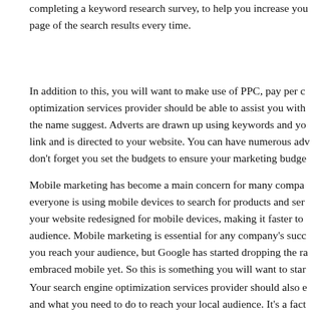completing a keyword research survey, to help you increase your page of the search results every time.
In addition to this, you will want to make use of PPC, pay per cl optimization services provider should be able to assist you with the name suggest. Adverts are drawn up using keywords and yo link and is directed to your website. You can have numerous adv don't forget you set the budgets to ensure your marketing budge
Mobile marketing has become a main concern for many compar everyone is using mobile devices to search for products and serv your website redesigned for mobile devices, making it faster to audience. Mobile marketing is essential for any company's succ you reach your audience, but Google has started dropping the ra embraced mobile yet. So this is something you will want to star
Your search engine optimization services provider should also e and what you need to do to reach your local audience. It's a fact searching for products and services online will search locally, s